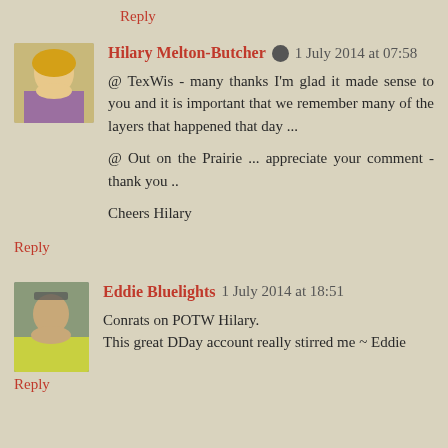Reply
Hilary Melton-Butcher ✏ 1 July 2014 at 07:58
@ TexWis - many thanks I'm glad it made sense to you and it is important that we remember many of the layers that happened that day ...

@ Out on the Prairie ... appreciate your comment -thank you ..

Cheers Hilary
Reply
Eddie Bluelights 1 July 2014 at 18:51
Conrats on POTW Hilary.
This great DDay account really stirred me ~ Eddie
Reply